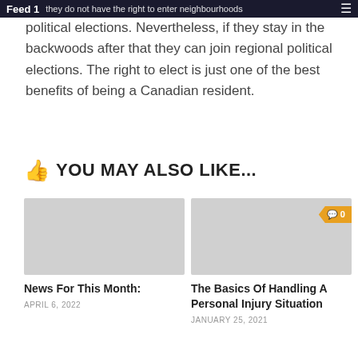Feed 1 — they do not have the right to enter neighbourhoods political elections.
political elections. Nevertheless, if they stay in the backwoods after that they can join regional political elections. The right to elect is just one of the best benefits of being a Canadian resident.
YOU MAY ALSO LIKE...
[Figure (photo): Gray placeholder image for article card: News For This Month:]
News For This Month:
APRIL 6, 2022
[Figure (photo): Gray placeholder image for article card with comment badge showing 0: The Basics Of Handling A Personal Injury Situation]
The Basics Of Handling A Personal Injury Situation
JANUARY 25, 2021